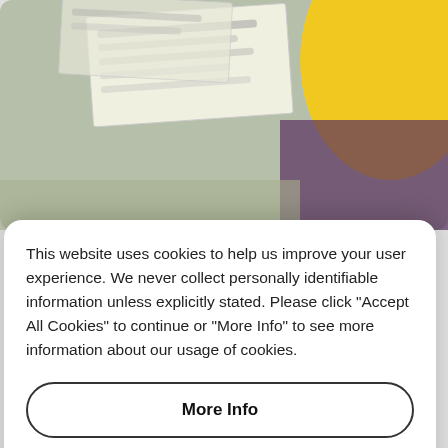[Figure (screenshot): Background screenshot of a webpage with paper/document elements visible and a yellow curved shape on the right side]
This website uses cookies to help us improve your user experience. We never collect personally identifiable information unless explicitly stated. Please click "Accept All Cookies" to continue or "More Info" to see more information about our usage of cookies.
More Info
Accept All Cookies